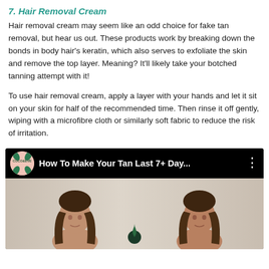7. Hair Removal Cream
Hair removal cream may seem like an odd choice for fake tan removal, but hear us out. These products work by breaking down the bonds in body hair's keratin, which also serves to exfoliate the skin and remove the top layer. Meaning? It'll likely take your botched tanning attempt with it!
To use hair removal cream, apply a layer with your hands and let it sit on your skin for half of the recommended time. Then rinse it off gently, wiping with a microfibre cloth or similarly soft fabric to reduce the risk of irritation.
[Figure (screenshot): YouTube-style video thumbnail showing Coco & Eve channel logo and title 'How To Make Your Tan Last 7+ Day...' with an image of two women side by side]